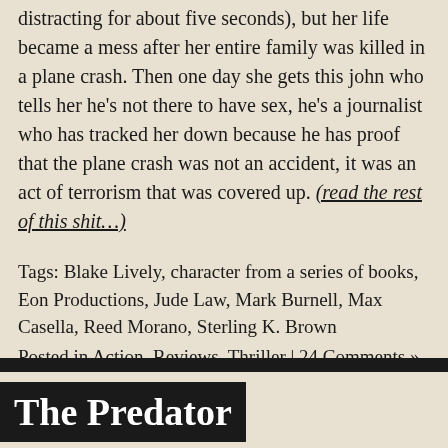distracting for about five seconds), but her life became a mess after her entire family was killed in a plane crash. Then one day she gets this john who tells her he's not there to have sex, he's a journalist who has tracked her down because he has proof that the plane crash was not an accident, it was an act of terrorism that was covered up. (read the rest of this shit…)
Tags: Blake Lively, character from a series of books, Eon Productions, Jude Law, Mark Burnell, Max Casella, Reed Morano, Sterling K. Brown
Posted in Action, Reviews, Thriller | 24 Comments »
The Predator